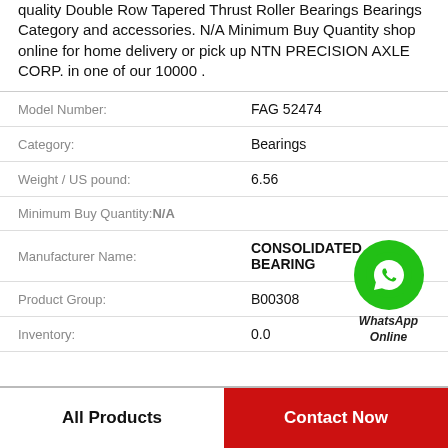quality Double Row Tapered Thrust Roller Bearings Bearings Category and accessories. N/A Minimum Buy Quantity shop online for home delivery or pick up NTN PRECISION AXLE CORP. in one of our 10000 .
| Model Number: | FAG 52474 |
| Category: | Bearings |
| Weight / US pound: | 6.56 |
| Minimum Buy Quantity: | N/A |
| Manufacturer Name: | CONSOLIDATED BEARING |
| Product Group: | B00308 |
| Inventory: | 0.0 |
[Figure (logo): WhatsApp Online green circle icon with phone handset, labeled WhatsApp Online]
All Products
Contact Now